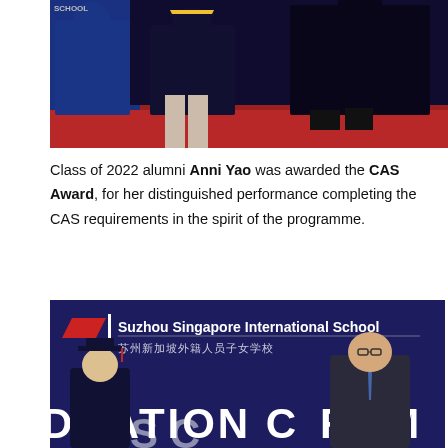[Figure (photo): Graduation ceremony photo showing figures in academic gowns on a stage with red carpet, partially cut off at top. 'SCHOOL' text visible in upper left corner.]
Class of 2022 alumni Anni Yao was awarded the CAS Award, for her distinguished performance completing the CAS requirements in the spirit of the programme.
[Figure (photo): Photo of a graduate in cap and gown posing with a staff member in front of a Suzhou Singapore International School banner that reads 'GRADUATION CEREMONY'. The banner shows both English and Chinese text: 苏州新加坡外籍人员子女学校.]